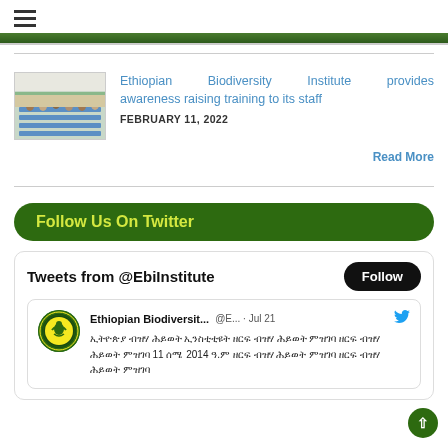≡ (hamburger menu)
[Figure (photo): Photo of people seated at a training session in a hall with blue chairs]
Ethiopian Biodiversity Institute provides awareness raising training to its staff
FEBRUARY 11, 2022
Read More
Follow Us On Twitter
Tweets from @EbiInstitute
Follow
[Figure (logo): Ethiopian Biodiversity Institute circular logo with green border and eagle emblem]
Ethiopian Biodiversit... @E... · Jul 21
ኢትዮጵያ ብዝሃ ሕይወት ኢንስቲቲዩት ዘርፍ ብዝሃ ሕይወት ምዝገባ ዘርፍ ብዝሃ ሕይወት ምዝገባ 11 ሰሜ 2014 ዓ.ም ዘርፍ ብዝሃ ሕይወት ምዝገባ ዘርፍ ብዝሃ ሕይወት ምዝገባ